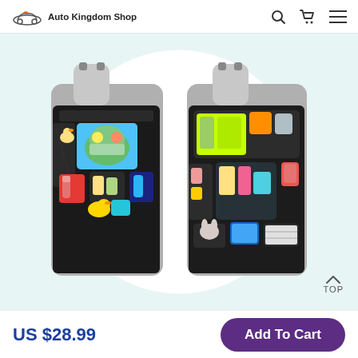Auto Kingdom Shop
[Figure (photo): Two car seat back organizers mounted on car seats. The left one features a tablet holder showing a cartoon, multiple mesh pockets with bottles and snacks. The right one has bright yellow-green accents with multiple pockets holding snacks, drinks, and toys. Both shown against a light teal background with a white circle behind the products.]
US $28.99
Add To Cart